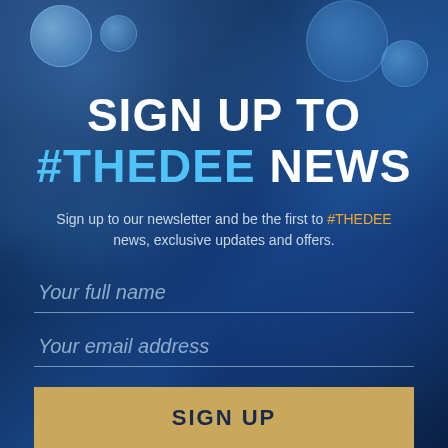[Figure (photo): Dark blue underwater/sports background with bubbles and texture overlay]
SIGN UP TO #THEDEE NEWS
Sign up to our newsletter and be the first to #THEDEE news, exclusive updates and offers.
Your full name
Your email address
SIGN UP